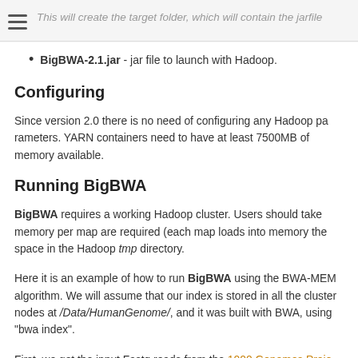This will create the target folder, which will contain the jarfile
BigBWA-2.1.jar - jar file to launch with Hadoop.
Configuring
Since version 2.0 there is no need of configuring any Hadoop parameters. YARN containers need to have at least 7500MB of memory available.
Running BigBWA
BigBWA requires a working Hadoop cluster. Users should take into account that at least 7500MB of memory per map are required (each map loads into memory the human genome reference), plus space in the Hadoop tmp directory.
Here it is an example of how to run BigBWA using the BWA-MEM algorithm. We will assume that our index is stored in all the cluster nodes at /Data/HumanGenome/, and it was built with BWA, using "bwa index".
First, we get the input Fastq reads from the 1000 Genomes Project